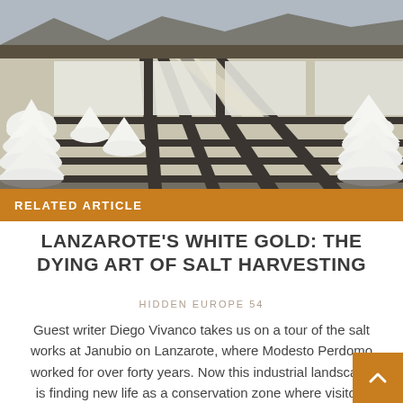[Figure (photo): Aerial view of salt works at Janubio on Lanzarote showing rows of white salt mounds arranged in evaporation pans with dark dividing walls, mountains in the background]
RELATED ARTICLE
LANZAROTE'S WHITE GOLD: THE DYING ART OF SALT HARVESTING
HIDDEN EUROPE 54
Guest writer Diego Vivanco takes us on a tour of the salt works at Janubio on Lanzarote, where Modesto Perdomo worked for over forty years. Now this industrial landscape is finding new life as a conservation zone where visitors can discover the